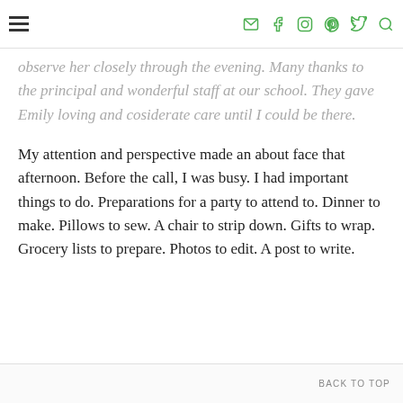[navigation bar with hamburger menu and social icons: email, facebook, instagram, pinterest, twitter, search]
observe her closely through the evening. Many thanks to the principal and wonderful staff at our school. They gave Emily loving and cosiderate care until I could be there.
My attention and perspective made an about face that afternoon. Before the call, I was busy. I had important things to do. Preparations for a party to attend to. Dinner to make. Pillows to sew. A chair to strip down. Gifts to wrap. Grocery lists to prepare. Photos to edit. A post to write.
BACK TO TOP